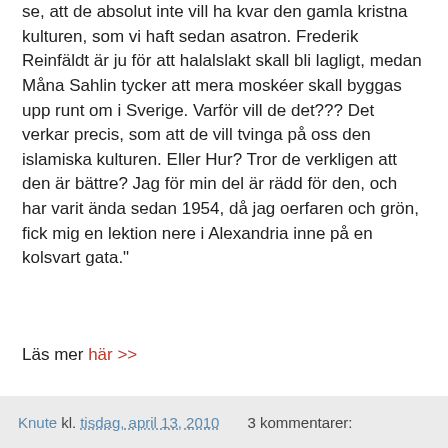se, att de absolut inte vill ha kvar den gamla kristna kulturen, som vi haft sedan asatron. Frederik Reinfäldt är ju för att halalslakt skall bli lagligt, medan Måna Sahlin tycker att mera moskéer skall byggas upp runt om i Sverige. Varför vill de det??? Det verkar precis, som att de vill tvinga på oss den islamiska kulturen. Eller Hur? Tror de verkligen att den är bättre? Jag för min del är rädd för den, och har varit ända sedan 1954, då jag oerfaren och grön, fick mig en lektion nere i Alexandria inne på en kolsvart gata."
Läs mer här >>
Knute kl. tisdag, april 13, 2010   3 kommentarer: